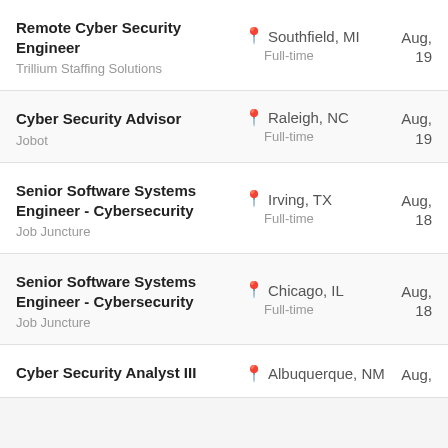Remote Cyber Security Engineer | Trillium Staffing Solutions | Southfield, MI | Full-time | Aug, 19
Cyber Security Advisor | Jobot | Raleigh, NC | Full-time | Aug, 19
Senior Software Systems Engineer - Cybersecurity | Job Juncture | Irving, TX | Full-time | Aug, 18
Senior Software Systems Engineer - Cybersecurity | Job Juncture | Chicago, IL | Full-time | Aug, 18
Cyber Security Analyst III | Albuquerque, NM | Aug,